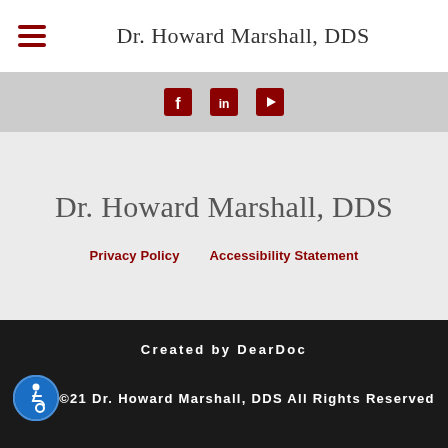Dr. Howard Marshall, DDS
[Figure (other): Social media icons (Facebook, LinkedIn, YouTube) in dark red on grey background strip]
Dr. Howard Marshall, DDS
Privacy Policy   Accessibility Statement
Created by DearDoc
©2021 Dr. Howard Marshall, DDS All Rights Reserved